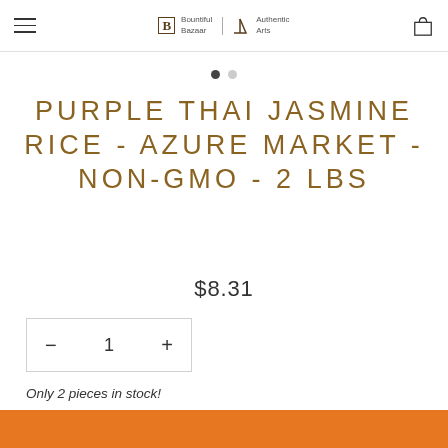Bountiful Bazaar / Authentic Arts — navigation header with hamburger menu and cart icon
[Figure (other): Carousel pagination dots: one filled dark dot and one unfilled light dot]
PURPLE THAI JASMINE RICE - AZURE MARKET - NON-GMO - 2 LBS
$8.31
— 1 +
Only 2 pieces in stock!